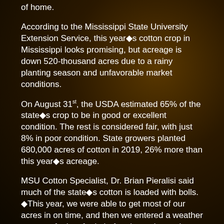of home.
According to the Mississippi State University Extension Service, this year◆s cotton crop in Mississippi looks promising, but acreage is down 520-thousand acres due to a rainy planting season and unfavorable market conditions.
On August 31st, the USDA estimated 65% of the state◆s crop to be in good or excellent condition. The rest is considered fair, with just 8% in poor condition. State growers planted 680,000 acres of cotton in 2019, 26% more than this year◆s acreage.
MSU Cotton Specialist, Dr. Brian Pieralisi said much of the state◆s cotton is loaded with bolls. ◆This year, we were able to get most of our acres in on time, and then we entered a weather pattern of a lot of rain before it got dry again,◆ Pieralisi said. ◆This pattern allowed a really good root system to develop in a lot of places and allowed growers to address most weed issues.◆
Pieralisi said, ◆Thrips were unusually bad in many places, and there were hot spots of significant bollworm and plant bug activity, but these pest problems were manageable when detected and